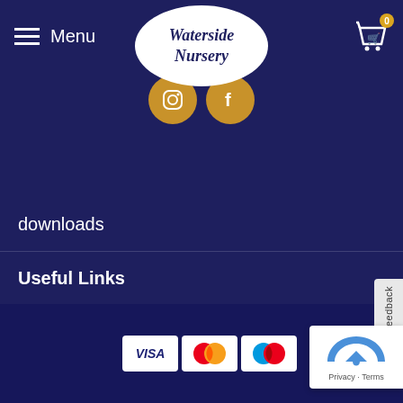[Figure (screenshot): Waterside Nursery website header with logo oval, Menu button, cart icon, social media buttons (Instagram, Facebook), navigation menu items (downloads, Useful Links, Newsletter), Feedback tab, payment icons (VISA, Mastercard, Maestro), and reCAPTCHA badge on dark navy background.]
Waterside Nursery
downloads
Useful Links
Newsletter